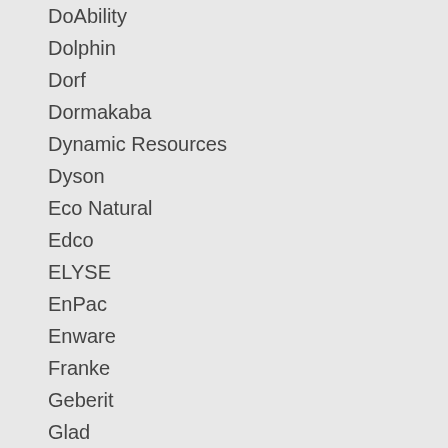DoAbility
Dolphin
Dorf
Dormakaba
Dynamic Resources
Dyson
Eco Natural
Edco
ELYSE
EnPac
Enware
Franke
Geberit
Glad
Hafele
Halyard
Henrietta
Hideaway
Huggies
IDC Medical
Jackson Safety
Jasol
JD MACDONALD